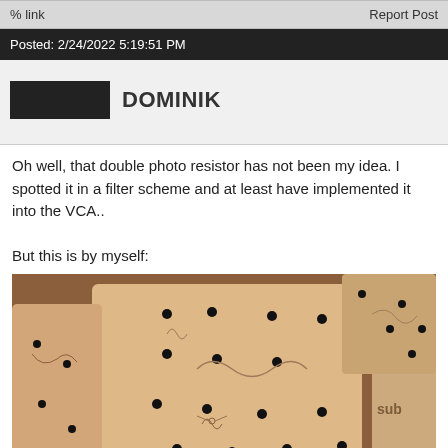% link   Report Post
Posted: 2/24/2022 5:19:51 PM
DOMINIK
Oh well, that double photo resistor has not been my idea. I spotted it in a filter scheme and at least have implemented it into the VCA..

But this is by myself:
[Figure (photo): Wooden synthesizer module panels with laser-engraved labels and holes, showing 'subseion voicemate' branding, arranged on a wooden surface.]